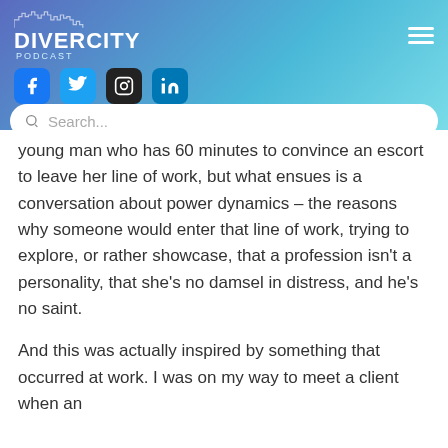DIVERCITY PODCAST
projects intended to enact social right the feature we're releasing this year is called The Escort, which despite its title is about gender
young man who has 60 minutes to convince an escort to leave her line of work, but what ensues is a conversation about power dynamics – the reasons why someone would enter that line of work, trying to explore, or rather showcase, that a profession isn't a personality, that she's no damsel in distress, and he's no saint.
And this was actually inspired by something that occurred at work. I was on my way to meet a client when an